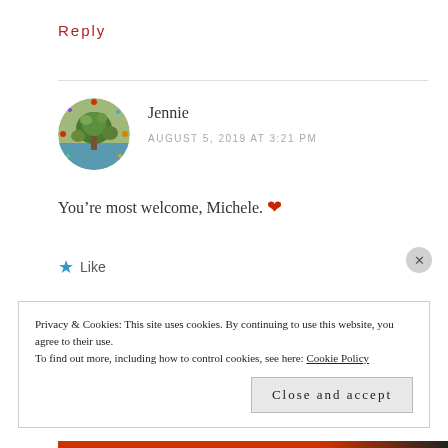Reply
Jennie
AUGUST 5, 2019 AT 3:21 PM
You’re most welcome, Michele. ❤
★ Like
Privacy & Cookies: This site uses cookies. By continuing to use this website, you agree to their use.
To find out more, including how to control cookies, see here: Cookie Policy
Close and accept